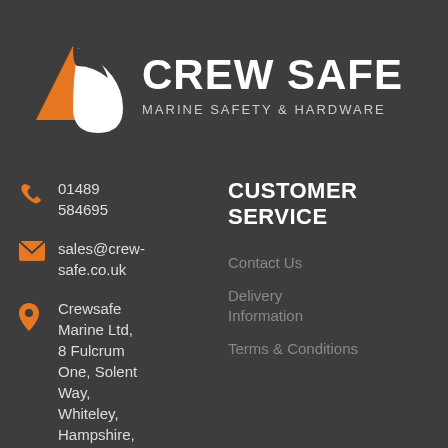[Figure (logo): Crew Safe Marine Safety & Hardware logo with orange sail and white droplet/sail shape on dark background]
CREW SAFE
MARINE SAFETY & HARDWARE
01489 584695
sales@crew-safe.co.uk
Crewsafe Marine Ltd, 8 Fulcrum One, Solent Way, Whiteley, Hampshire,
CUSTOMER SERVICE
Contact Us
Delivery Information
Terms & Conditions